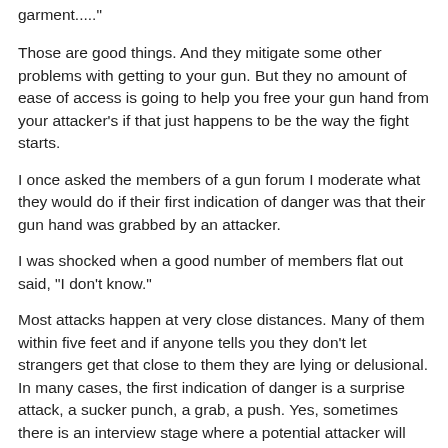garment....."
Those are good things. And they mitigate some other problems with getting to your gun. But they no amount of ease of access is going to help you free your gun hand from your attacker's if that just happens to be the way the fight starts.
I once asked the members of a gun forum I moderate what they would do if their first indication of danger was that their gun hand was grabbed by an attacker.
I was shocked when a good number of members flat out said, "I don't know."
Most attacks happen at very close distances. Many of them within five feet and if anyone tells you they don't let strangers get that close to them they are lying or delusional. In many cases, the first indication of danger is a surprise attack, a sucker punch, a grab, a push. Yes, sometimes there is an interview stage where a potential attacker will ask for the time or money or a cigarette, but, again if escalation occurs